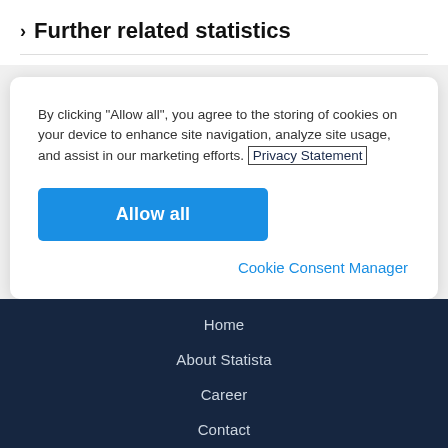> Further related statistics
By clicking “Allow all”, you agree to the storing of cookies on your device to enhance site navigation, analyze site usage, and assist in our marketing efforts. Privacy Statement
Allow all
Cookie Consent Manager
Home
About Statista
Career
Contact
Help & FAQ
Our Media Partners